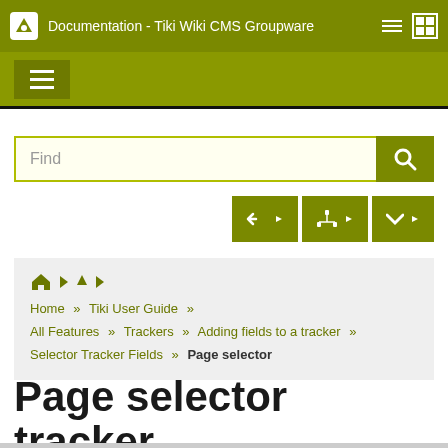Documentation - Tiki Wiki CMS Groupware
[Figure (screenshot): Search bar with 'Find' placeholder text and green search button with magnifying glass icon]
[Figure (screenshot): Navigation buttons: back arrow, sitemap, and down arrow in olive/dark yellow green]
Home » Tiki User Guide » All Features » Trackers » Adding fields to a tracker » Selector Tracker Fields » Page selector
Page selector tracker field type